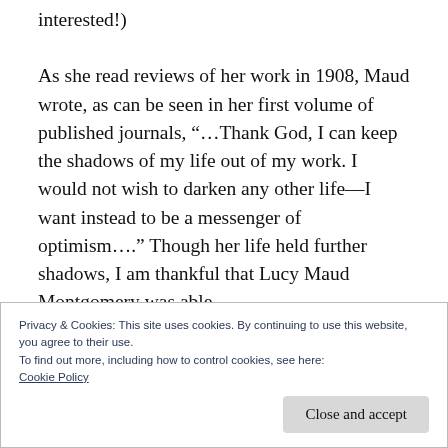interested!)
As she read reviews of her work in 1908, Maud wrote, as can be seen in her first volume of published journals, “…Thank God, I can keep the shadows of my life out of my work. I would not wish to darken any other life—I want instead to be a messenger of optimism….” Though her life held further shadows, I am thankful that Lucy Maud Montgomery was able
Privacy & Cookies: This site uses cookies. By continuing to use this website, you agree to their use.
To find out more, including how to control cookies, see here:
Cookie Policy
Close and accept